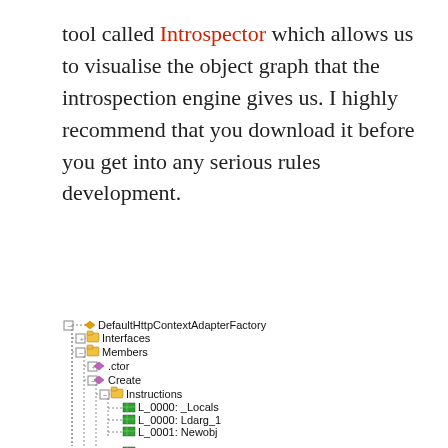tool called Introspector which allows us to visualise the object graph that the introspection engine gives us. I highly recommend that you download it before you get into any serious rules development.
[Figure (screenshot): A tree view from the Introspector tool showing DefaultHttpContextAdapterFactory with child nodes: Interfaces, Members (containing .ctor and Create), where Create has Instructions (L_0000: _Locals, L_0000: Ldarg_1, L_0001: Newobj, L_0006: Ret), Parameters (httpContext), Body = <Block> with Statements containing <Block> with Statements containing <ReturnNode> with Expression = <Construct> and Operands.]